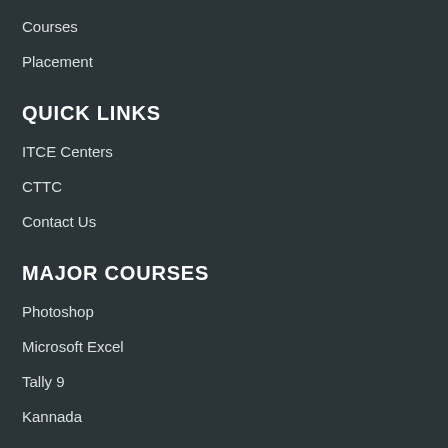Courses
Placement
QUICK LINKS
ITCE Centers
CTTC
Contact Us
MAJOR COURSES
Photoshop
Microsoft Excel
Tally 9
Kannada